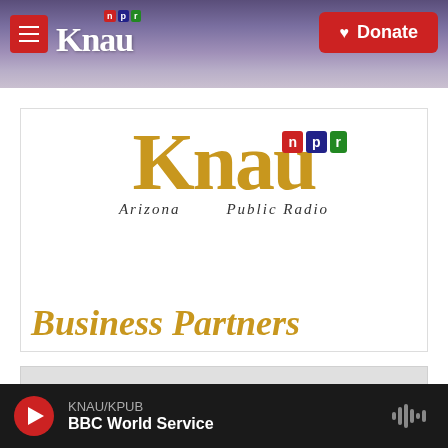KNAU Arizona Public Radio - NPR
[Figure (logo): KNAU Arizona Public Radio NPR logo with Business Partners banner]
[Figure (other): Gray placeholder content box]
KNAU/KPUB
BBC World Service